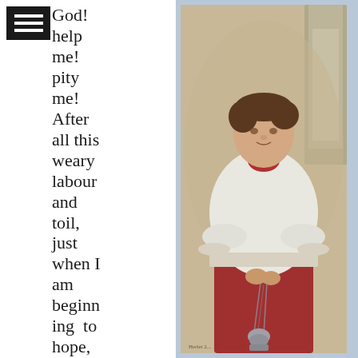God! help me! pity me! After all this weary labour and toil, just when I am beginning to hope, is everything to be undone? am I to
[Figure (photo): Portrait painting of a young altar boy wearing a white surplice over a red cassock, holding a thurible (incense burner). The boy has short brown hair and is looking forward with a slight smile. There is a stone column in the background. Artist signature visible at bottom left: Herlet(?) 2[date].]